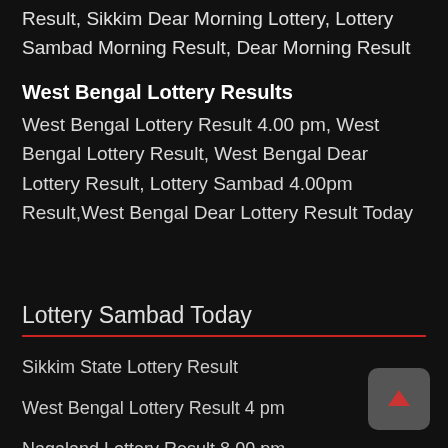Result, Sikkim Dear Morning Lottery, Lottery Sambad Morning Result, Dear Morning Result
West Bengal Lottery Results
West Bengal Lottery Result 4.00 pm, West Bengal Lottery Result, West Bengal Dear Lottery Result, Lottery Sambad 4.00pm Result,West Bengal Dear Lottery Result Today
Lottery Sambad Today
Sikkim State Lottery Result
West Bengal Lottery Result 4 pm
Nagaland Lottery Result 8.00 pm